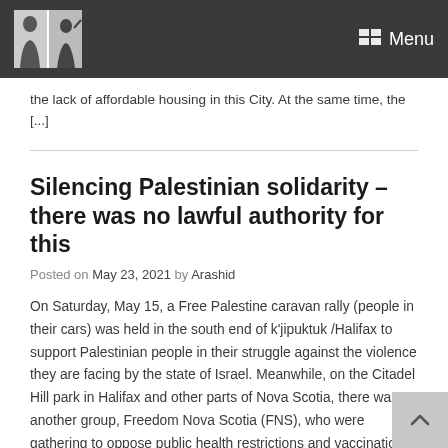Menu
the lack of affordable housing in this City. At the same time, the [...]
Silencing Palestinian solidarity – there was no lawful authority for this
Posted on May 23, 2021 by Arashid
On Saturday, May 15, a Free Palestine caravan rally (people in their cars) was held in the south end of k'jipuktuk /Halifax to support Palestinian people in their struggle against the violence they are facing by the state of Israel. Meanwhile, on the Citadel Hill park in Halifax and other parts of Nova Scotia, there was another group, Freedom Nova Scotia (FNS), who were gathering to oppose public health restrictions and vaccinations. All told, there were 17 tickets issued to [...]